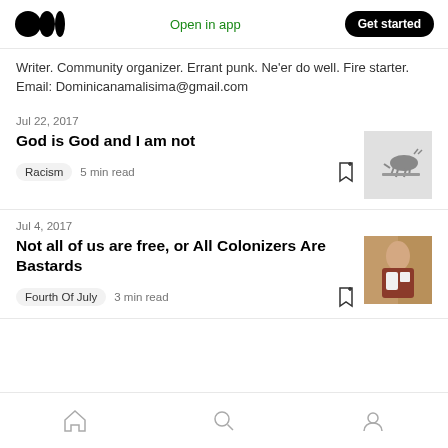Medium logo | Open in app | Get started
Writer. Community organizer. Errant punk. Ne'er do well. Fire starter. Email: Dominicanamalisima@gmail.com
Jul 22, 2017
God is God and I am not
Racism  5 min read
Jul 4, 2017
Not all of us are free, or All Colonizers Are Bastards
Fourth Of July  3 min read
Home | Search | Profile